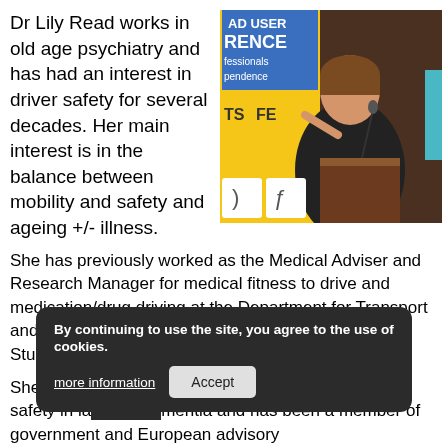Dr Lily Read works in old age psychiatry and has had an interest in driver safety for several decades. Her main interest is in the balance between mobility and safety and ageing +/- illness.
[Figure (photo): Photo of Dr Lily Read speaking at a podium/lectern at what appears to be a road user conference (banner visible with text 'ROAD USER CONFERENCE', 'fessionals', 'pendence', 'TSAFE'). She is gesturing with her right hand.]
She has previously worked as the Medical Adviser and Research Manager for medical fitness to drive and medication/drug driving at the Department for Transport and a Senior Researcher at the Institute for Transport Studies at the University of Leeds.
She ob[By continuing to use the site, you agree to the use of cookies. more information | Accept] predictors of dr[iving safety in la]ter life/dementia and has been a member of government and European advisory [bodies in th...]